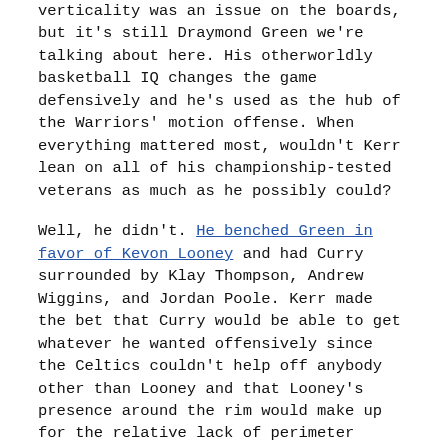verticality was an issue on the boards, but it's still Draymond Green we're talking about here. His otherworldly basketball IQ changes the game defensively and he's used as the hub of the Warriors' motion offense. When everything mattered most, wouldn't Kerr lean on all of his championship-tested veterans as much as he possibly could?
Well, he didn't. He benched Green in favor of Kevon Looney and had Curry surrounded by Klay Thompson, Andrew Wiggins, and Jordan Poole. Kerr made the bet that Curry would be able to get whatever he wanted offensively since the Celtics couldn't help off anybody other than Looney and that Looney's presence around the rim would make up for the relative lack of perimeter defense featured in that lineup. It was a good bet because it worked. From that point, the Warriors went on a 21-7 run to win the game and tie up the Finals.
Green admittedly didn't disappear throughout that stretch. Kerr put him back in for key defensive possessions and the timeouts he had remaining coupled with a few timely fouls allowed him to pull Green for